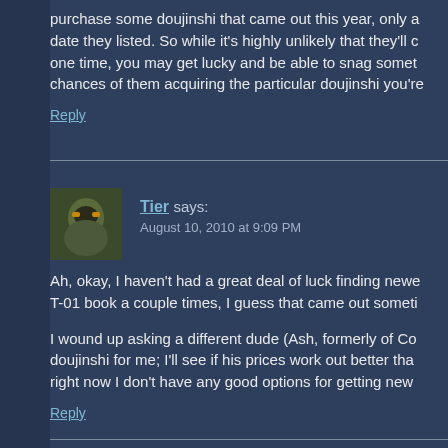purchase some doujinshi that came out this year, only a date they listed. So while it's highly unlikely that they'll c one time, you may get lucky and be able to snag somet chances of them acquiring the particular doujinshi you're
Reply
[Figure (photo): Avatar image of commenter Tier - appears to be an illustrated figure with mask/helmet]
Tier says:
August 10, 2010 at 9:09 PM
Ah, okay, I haven't had a great deal of luck finding newe T-01 book a couple times, I guess that came out someti
I wound up asking a different dude (Ash, formerly of Co doujinshi for me; I'll see if his prices work out better tha right now I don't have any good options for getting new
Reply